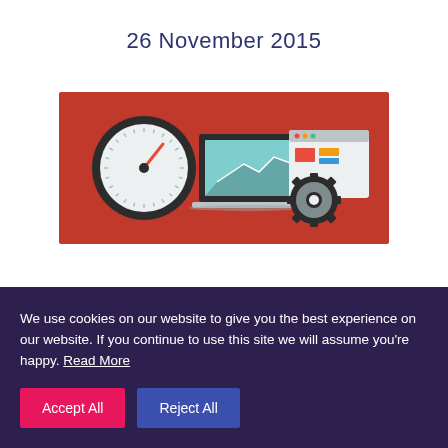26 November 2015
[Figure (illustration): Flat design illustration on red background showing three icons: a speedometer/gauge on the left, a laptop with a line/area chart in the center, and a browser window with colored blocks next to a gear/cog icon on the right.]
We use cookies on our website to give you the best experience on our website. If you continue to use this site we will assume you're happy. Read More
Accept All
Reject All